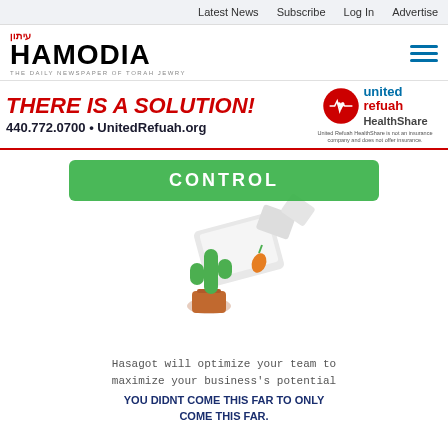Latest News  Subscribe  Log In  Advertise
[Figure (logo): Hamodia newspaper logo with tagline 'THE DAILY NEWSPAPER OF TORAH JEWRY']
[Figure (infographic): United Refuah HealthShare advertisement banner with red headline 'THERE IS A SOLUTION!', phone number 440.772.0700, website UnitedRefuah.org, and United Refuah HealthShare logo with disclaimer text]
[Figure (illustration): Green button with text 'CONTROL' partially visible, with a 3D illustration of a cactus in a pot and papers/laptop flying]
Hasagot will optimize your team to maximize your business's potential
YOU DIDNT COME THIS FAR TO ONLY COME THIS FAR.